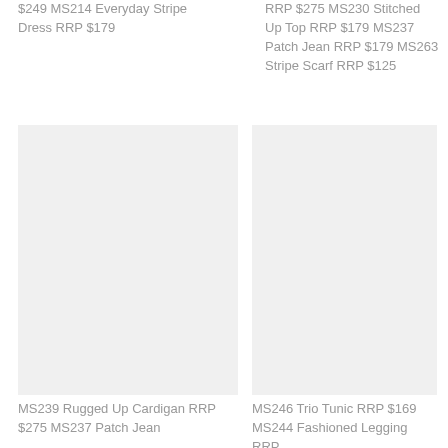$249  MS214  Everyday Stripe Dress  RRP $179
RRP $275  MS230 Stitched Up Top  RRP $179  MS237  Patch Jean  RRP $179  MS263 Stripe Scarf  RRP $125
[Figure (photo): Product photo placeholder (light gray box) for MS239 Rugged Up Cardigan]
[Figure (photo): Product photo placeholder (light gray box) for MS246 Trio Tunic]
MS239  Rugged Up Cardigan  RRP $275  MS237  Patch Jean
MS246 Trio Tunic  RRP $169  MS244  Fashioned  Legging  RRP